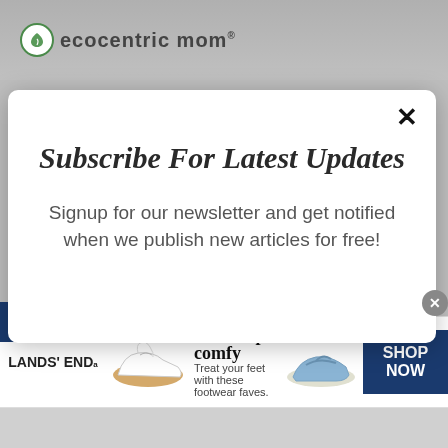[Figure (screenshot): Background showing ecocentric mom logo and product packaging]
Subscribe For Latest Updates
Signup for our newsletter and get notified when we publish new articles for free!
[Figure (screenshot): Infolinks advertisement bar with Lands End Next step: comfy footwear ad]